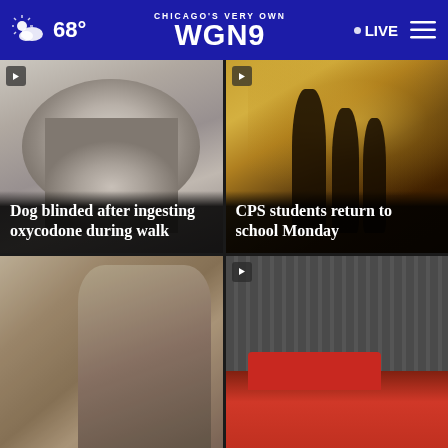Chicago's Very Own WGN9 — 68° — LIVE
[Figure (photo): Fluffy white/grey dog close-up photo with headline overlay: Dog blinded after ingesting oxycodone during walk]
[Figure (photo): Silhouettes of students/people at a school entrance in golden light with headline overlay: CPS students return to school Monday]
[Figure (photo): People walking in a corridor or transit area, blurred background]
[Figure (photo): Fire trucks and firefighters at a scene, red fire engine visible]